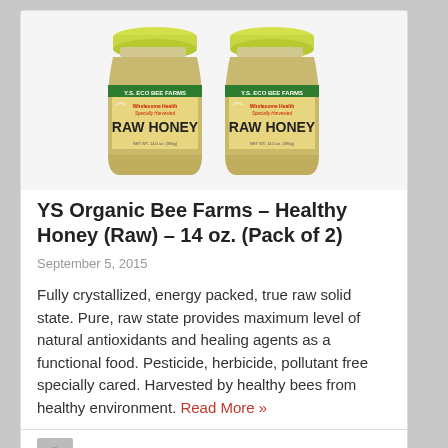[Figure (photo): Two jars of YS Eco Bee Farms Raw Honey with yellow lids, side by side]
YS Organic Bee Farms – Healthy Honey (Raw) – 14 oz. (Pack of 2)
September 5, 2015
Fully crystallized, energy packed, true raw solid state. Pure, raw state provides maximum level of natural antioxidants and healing agents as a functional food. Pesticide, herbicide, pollutant free specially cared. Harvested by healthy bees from healthy environment. Read More »
by: Good Vibe Organics in Sweetners